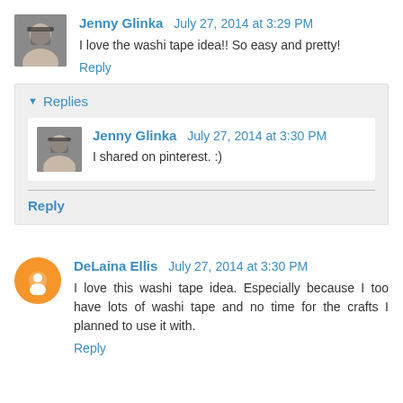Jenny Glinka   July 27, 2014 at 3:29 PM
I love the washi tape idea!! So easy and pretty!
Reply
Replies
Jenny Glinka   July 27, 2014 at 3:30 PM
I shared on pinterest. :)
Reply
DeLaina Ellis   July 27, 2014 at 3:30 PM
I love this washi tape idea. Especially because I too have lots of washi tape and no time for the crafts I planned to use it with.
Reply